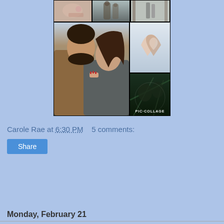[Figure (photo): A photo collage (PIC-COLLAGE) showing multiple engagement/couple photos: close-up of hands with ring, couple embracing in winter outdoor setting, couple silhouette, hands making heart shape, couple kissing outdoors]
Carole Rae at 6:30 PM    5 comments:
Share
Monday, February 21